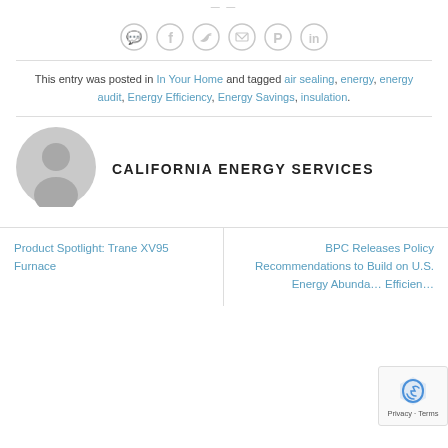[Figure (other): Social media sharing icons in circles: WhatsApp, Facebook, Twitter, Email, Pinterest, LinkedIn]
This entry was posted in In Your Home and tagged air sealing, energy, energy audit, Energy Efficiency, Energy Savings, insulation.
[Figure (illustration): Grey circular avatar/profile icon placeholder]
CALIFORNIA ENERGY SERVICES
Product Spotlight: Trane XV95 Furnace
BPC Releases Policy Recommendations to Build on U.S. Energy Abundance Efficiency